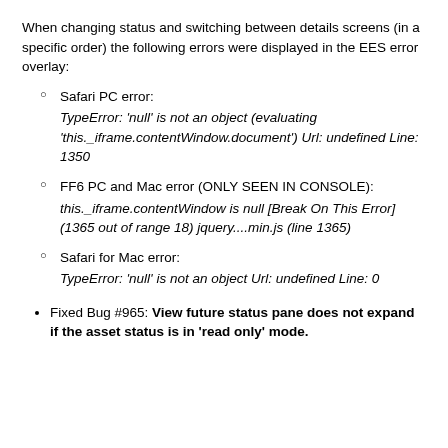When changing status and switching between details screens (in a specific order) the following errors were displayed in the EES error overlay:
Safari PC error: TypeError: 'null' is not an object (evaluating 'this._iframe.contentWindow.document') Url: undefined Line: 1350
FF6 PC and Mac error (ONLY SEEN IN CONSOLE): this._iframe.contentWindow is null [Break On This Error] (1365 out of range 18) jquery....min.js (line 1365)
Safari for Mac error: TypeError: 'null' is not an object Url: undefined Line: 0
Fixed Bug #965: View future status pane does not expand if the asset status is in 'read only' mode.